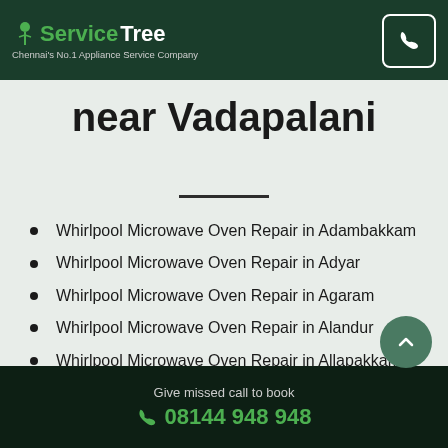ServiceTree — Chennai's No.1 Appliance Service Company
Microwave Oven Repair near Vadapalani
Whirlpool Microwave Oven Repair in Adambakkam
Whirlpool Microwave Oven Repair in Adyar
Whirlpool Microwave Oven Repair in Agaram
Whirlpool Microwave Oven Repair in Alandur
Whirlpool Microwave Oven Repair in Allapakkam
Give missed call to book 08144 948 948